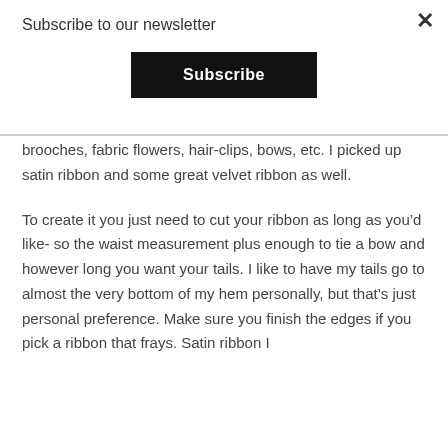Subscribe to our newsletter
Subscribe
brooches, fabric flowers, hair-clips, bows, etc. I picked up satin ribbon and some great velvet ribbon as well.
To create it you just need to cut your ribbon as long as you’d like- so the waist measurement plus enough to tie a bow and however long you want your tails. I like to have my tails go to almost the very bottom of my hem personally, but that’s just personal preference. Make sure you finish the edges if you pick a ribbon that frays. Satin ribbon I